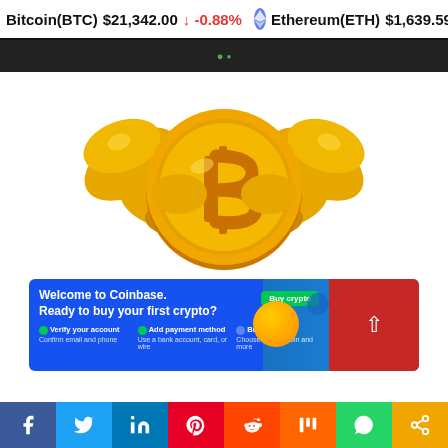Bitcoin(BTC) $21,342.00 ↓ -0.88% Ethereum(ETH) $1,639.59 ↑ 1.1
[Figure (illustration): Bitcoin mascot illustration: a golden Bitcoin coin with muscular arms flexing biceps on both sides]
[Figure (screenshot): Coinbase advertisement banner: 'Welcome to Coinbase. Ready to buy your first crypto?' with steps: Verify your account, Add payment method, Buy crypto. Green 'Buy crypto' button. Orange coin graphic on right side.]
Social share buttons: Facebook, Twitter, LinkedIn, Pinterest, Reddit, Mix, WhatsApp, Share